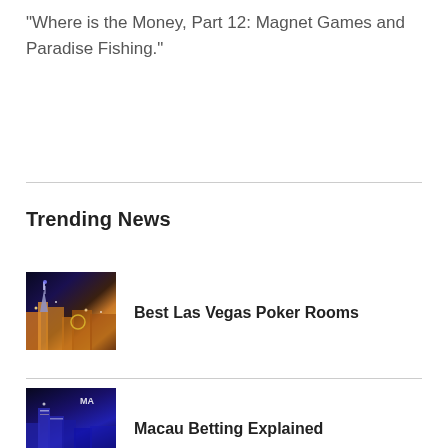“Where is the Money, Part 12: Magnet Games and Paradise Fishing.”
Trending News
[Figure (photo): Nighttime Las Vegas Strip with illuminated buildings and Eiffel Tower replica]
Best Las Vegas Poker Rooms
[Figure (photo): Macau cityscape at night with illuminated skyscrapers, MA text visible]
Macau Betting Explained